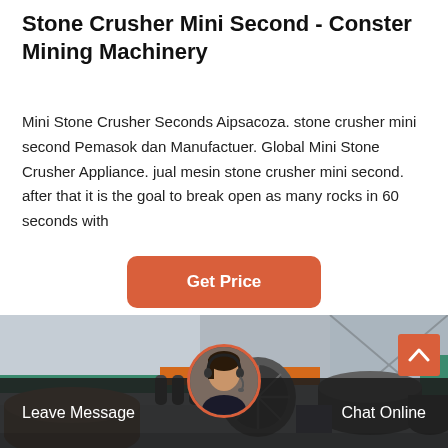Stone Crusher Mini Second - Conster Mining Machinery
Mini Stone Crusher Seconds Aipsacoza. stone crusher mini second Pemasok dan Manufactuer. Global Mini Stone Crusher Appliance. jual mesin stone crusher mini second. after that it is the goal to break open as many rocks in 60 seconds with
Get Price
[Figure (photo): Industrial stone crusher machinery inside a warehouse facility showing large cylindrical drums and conveyor components with green structural walls in background]
Leave Message
Chat Online